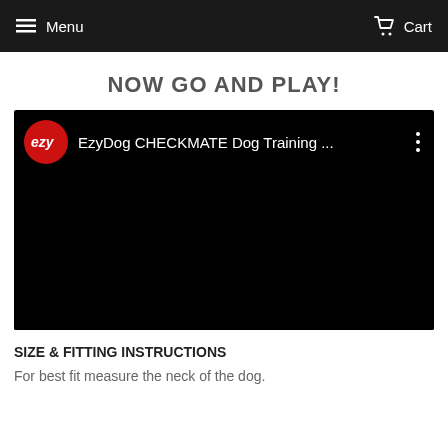Menu   Cart
NOW GO AND PLAY!
[Figure (screenshot): Embedded YouTube video preview showing EzyDog CHECKMATE Dog Training ... with red EzyDog logo circle on left, video title in white text, three-dot menu icon on right, all on black background.]
SIZE & FITTING INSTRUCTIONS
For best fit measure the neck of the dog.